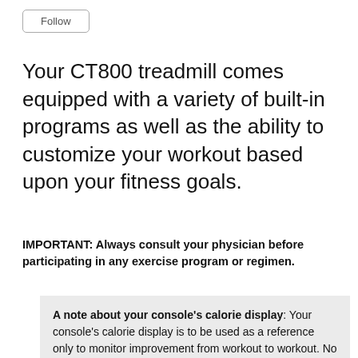Follow
Your CT800 treadmill comes equipped with a variety of built-in programs as well as the ability to customize your workout based upon your fitness goals.
IMPORTANT: Always consult your physician before participating in any exercise program or regimen.
A note about your console’s calorie display: Your console’s calorie display is to be used as a reference only to monitor improvement from workout to workout. No exercise machine can give you an exact calorie count because there are too many factors which determine exact calorie burn for any particular